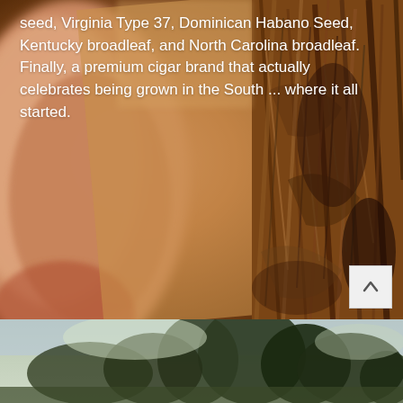[Figure (photo): Close-up macro photo of the open end of a cigar showing tobacco leaves and filler, with a hand/finger visible on the left side. Warm brown and amber tones with blurred background.]
seed, Virginia Type 37, Dominican Habano Seed, Kentucky broadleaf, and North Carolina broadleaf. Finally, a premium cigar brand that actually celebrates being grown in the South ... where it all started.
[Figure (photo): Partial view of an outdoor scene with trees and green foliage, appears to be the top portion of another photo below the main cigar image.]